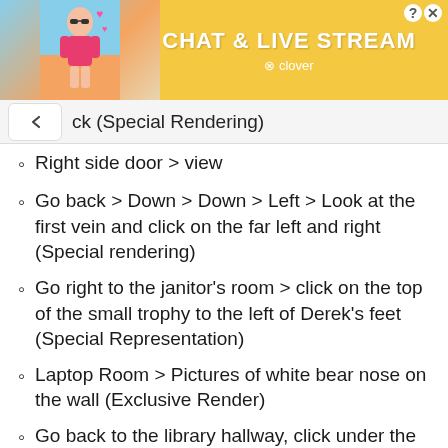[Figure (other): Advertisement banner for 'Chat & Live Stream' by Clover, featuring a woman in a swimsuit on a beach background with pink heart emojis. Yellow/orange background with white bold text.]
ck (Special Rendering)
Right side door > view
Go back > Down > Down > Left > Look at the first vein and click on the far left and right (Special rendering)
Go right to the janitor's room > click on the top of the small trophy to the left of Derek's feet (Special Representation)
Laptop Room > Pictures of white bear nose on the wall (Exclusive Render)
Go back to the library hallway, click under the ax on the second door from the left